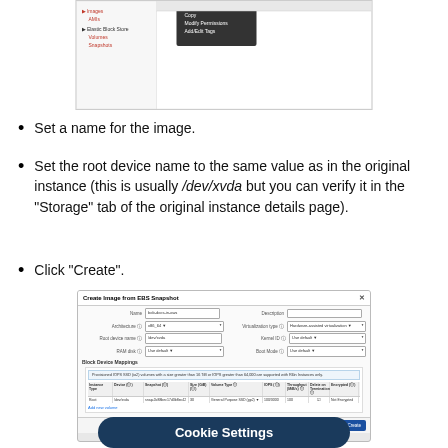[Figure (screenshot): Screenshot of AWS console showing a dropdown context menu with Copy, Modify Permissions, Add/Edit Tags options over a navigation panel with Images (AMIs) and Elastic Block Store sections (Volumes, Snapshots).]
Set a name for the image.
Set the root device name to the same value as in the original instance (this is usually /dev/xvda but you can verify it in the "Storage" tab of the original instance details page).
Click “Create”.
[Figure (screenshot): Dialog box titled 'Create Image from EBS Snapshot' with fields for Name, Description, Architecture, Virtualization type, Root device name, Kernel ID, RAM disk ID, Boot Mode, and a Block Device Mappings table showing a Root /dev/xvda entry with a snapshot, 30 GiB, General Purpose SSD (gp2), 100/3000 IOPS, 100 throughput. Cancel and Create buttons at bottom right.]